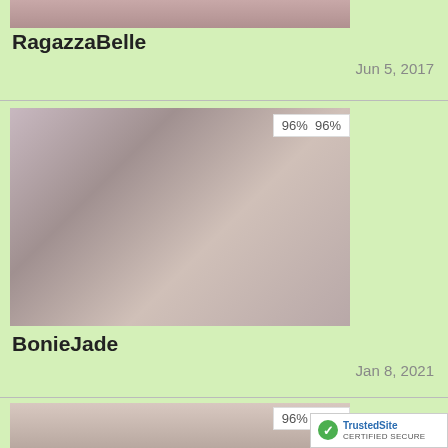[Figure (photo): Partial photo at top of page, cropped]
RagazzaBelle
Jun 5, 2017
[Figure (photo): Photo of woman in bedroom with rating badge showing 96% 96%]
BonieJade
Jan 8, 2021
[Figure (photo): Partial photo at bottom of page with rating badge showing 96% 96%]
[Figure (logo): TrustedSite Certified Secure badge]